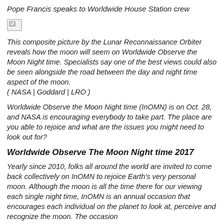Pope Francis speaks to Worldwide House Station crew
[Figure (photo): Broken/missing image placeholder (thumbnail of LRO composite moon image)]
This composite picture by the Lunar Reconnaissance Orbiter reveals how the moon will seem on Worldwide Observe the Moon Night time. Specialists say one of the best views could also be seen alongside the road between the day and night time aspect of the moon.
( NASA | Goddard | LRO )
Worldwide Observe the Moon Night time (InOMN) is on Oct. 28, and NASA is encouraging everybody to take part. The place are you able to rejoice and what are the issues you might need to look out for?
Worldwide Observe The Moon Night time 2017
Yearly since 2010, folks all around the world are invited to come back collectively on InOMN to rejoice Earth's very personal moon. Although the moon is all the time there for our viewing each single night time, InOMN is an annual occasion that encourages each individual on the planet to look at, perceive and recognize the moon. The occasion